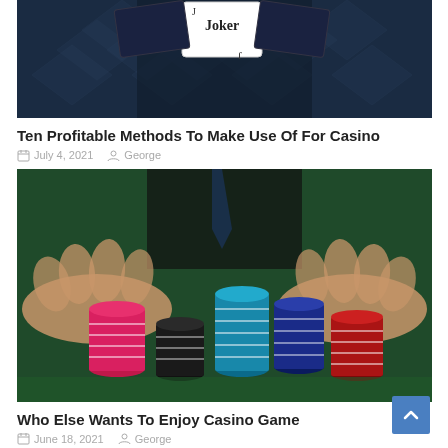[Figure (photo): Partial view of a person in dark suit holding playing cards including a Joker card, dark blue background with diamond pattern]
Ten Profitable Methods To Make Use Of For Casino
July 4, 2021   George
[Figure (photo): Hands reaching around multiple stacks of casino poker chips (pink, black, blue, navy, teal, red) on a green casino table]
Who Else Wants To Enjoy Casino Game
June 18, 2021   George